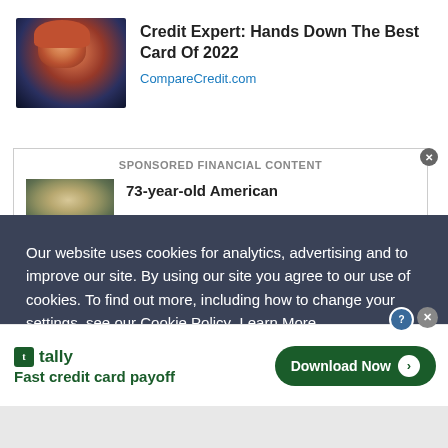[Figure (photo): Advertisement image: woman smiling and looking at phone/card at night with city lights]
Credit Expert: Hands Down The Best Card Of 2022
CompareCredit.com
SPONSORED FINANCIAL CONTENT
[Figure (photo): Sponsored content image: elderly bald man]
73-year-old American
Our website uses cookies for analytics, advertising and to improve our site. By using our site you agree to our use of cookies. To find out more, including how to change your settings, see our Cookie Policy  Learn More
[Figure (logo): Tally app logo with green icon and tally text]
Fast credit card payoff
Download Now →